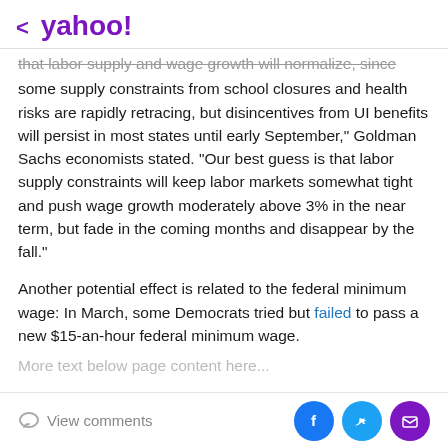< yahoo!
that labor supply and wage growth will normalize, since some supply constraints from school closures and health risks are rapidly retracing, but disincentives from UI benefits will persist in most states until early September," Goldman Sachs economists stated. "Our best guess is that labor supply constraints will keep labor markets somewhat tight and push wage growth moderately above 3% in the near term, but fade in the coming months and disappear by the fall."
Another potential effect is related to the federal minimum wage: In March, some Democrats tried but failed to pass a new $15-an-hour federal minimum wage.
More text below page...
View comments